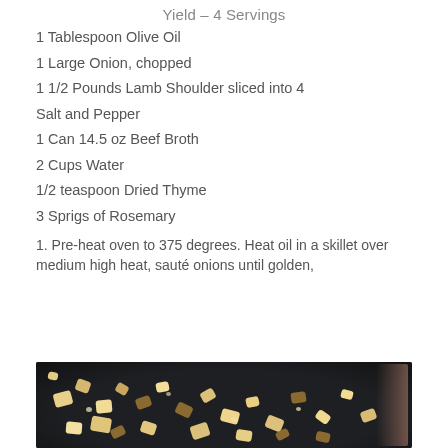Yield – 4 Servings
1 Tablespoon Olive Oil
1 Large Onion, chopped
1 1/2 Pounds Lamb Shoulder sliced into 4
Salt and Pepper
1 Can 14.5 oz Beef Broth
2 Cups Water
1/2 teaspoon Dried Thyme
3 Sprigs of Rosemary
1. Pre-heat oven to 375 degrees. Heat oil in a skillet over medium high heat, sauté onions until golden,
[Figure (photo): Sautéed chopped onions in a dark skillet, golden and lightly browned at edges]